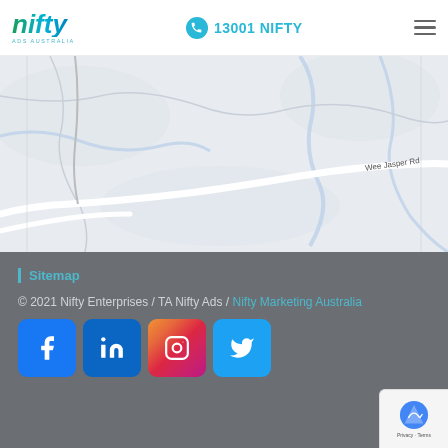Nifty Ads Australia — 13001 NIFTY
[Figure (map): Google Maps excerpt showing Wee Jasper Rd area, light grey terrain with white roads and blue waterways]
Sitemap
© 2021 Nifty Enterprises / TA Nifty Ads / Nifty Marketing Australia
[Figure (infographic): Social media icons row: Facebook, LinkedIn, Instagram, Twitter]